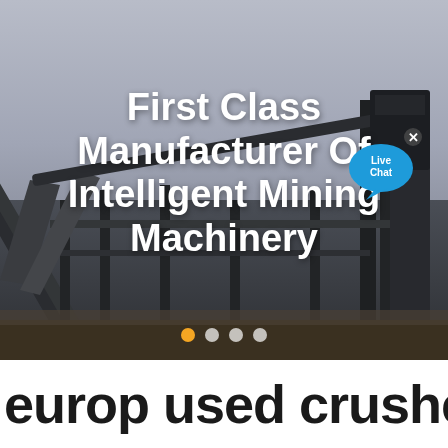[Figure (photo): Industrial mining machinery facility with conveyor belts and steel structures, taken from a low angle against a grey sky.]
First Class Manufacturer Of Intelligent Mining Machinery
europ used crusher